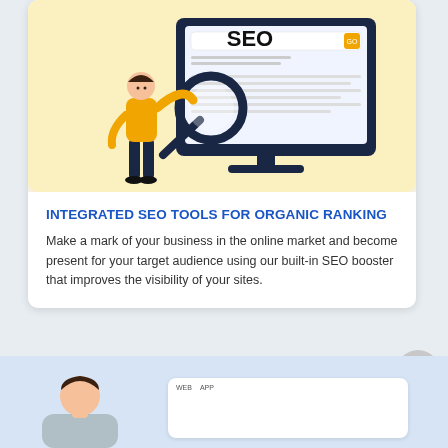[Figure (illustration): SEO illustration showing a person with a magnifying glass examining a computer monitor displaying the word SEO in a search interface. Yellow background with navy monitor. Person wearing yellow top and navy pants.]
INTEGRATED SEO TOOLS FOR ORGANIC RANKING
Make a mark of your business in the online market and become present for your target audience using our built-in SEO booster that improves the visibility of your sites.
[Figure (illustration): Bottom section showing a light blue background with partial view of a person's head/shoulders and a white card with WEB and APP tab labels.]